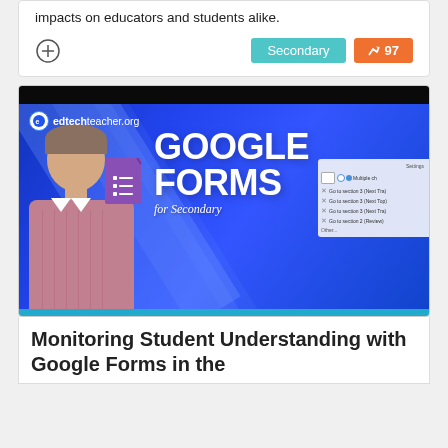impacts on educators and students alike.
[Figure (screenshot): Tags showing 'Secondary' in teal and score '97' with trending arrow in orange, plus a plus/circle icon]
[Figure (photo): Video thumbnail from edtechteacher.org showing a man smiling, with blue diagonal background, Google Forms icon, text 'GOOGLE FORMS for Secondary', and a Google Forms UI mockup on the right side]
Monitoring Student Understanding with Google Forms in the